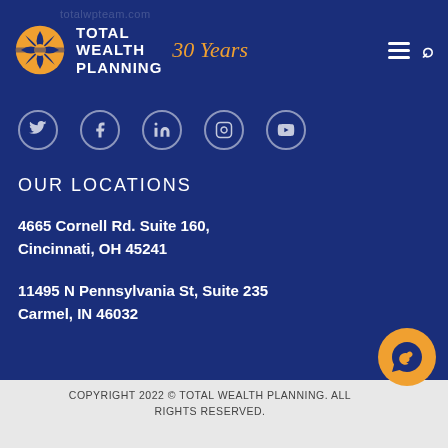[Figure (logo): Total Wealth Planning logo with orange sun/leaf icon, white bold text TOTAL WEALTH PLANNING, and '30 Years' in orange italic script]
[Figure (other): Social media icons row: Twitter, Facebook, LinkedIn, Instagram, YouTube]
OUR LOCATIONS
4665 Cornell Rd. Suite 160,
Cincinnati, OH 45241
11495 N Pennsylvania St, Suite 235
Carmel, IN 46032
COPYRIGHT 2022 © TOTAL WEALTH PLANNING. ALL RIGHTS RESERVED.